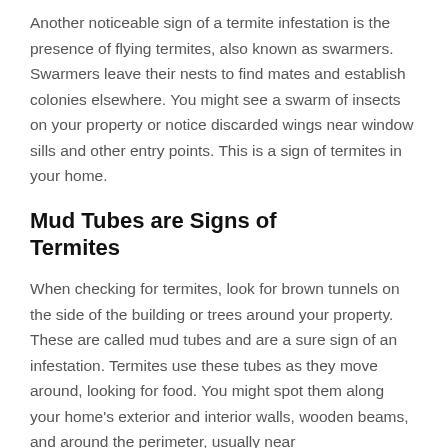Another noticeable sign of a termite infestation is the presence of flying termites, also known as swarmers. Swarmers leave their nests to find mates and establish colonies elsewhere. You might see a swarm of insects on your property or notice discarded wings near window sills and other entry points. This is a sign of termites in your home.
Mud Tubes are Signs of Termites
When checking for termites, look for brown tunnels on the side of the building or trees around your property. These are called mud tubes and are a sure sign of an infestation. Termites use these tubes as they move around, looking for food. You might spot them along your home's exterior and interior walls, wooden beams, and around the perimeter, usually near